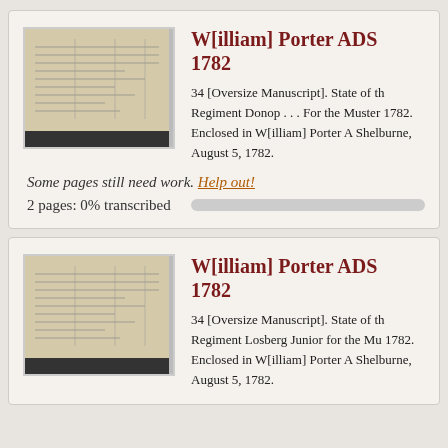W[illiam] Porter ADS 1782
34 [Oversize Manuscript]. State of th Regiment Donop . . . For the Muster 1782. Enclosed in W[illiam] Porter A Shelburne, August 5, 1782.
Some pages still need work. Help out!
2 pages: 0% transcribed
W[illiam] Porter ADS 1782
34 [Oversize Manuscript]. State of th Regiment Losberg Junior for the Mu 1782. Enclosed in W[illiam] Porter A Shelburne, August 5, 1782.